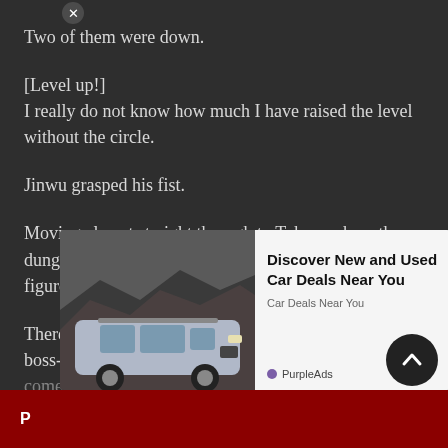Two of them were down.
[Level up!]
I really do not know how much I have raised the level without the circle.
Jinwu grasped his fist.
Moving almost straight through to Tokyo, where the dungeon brakes were open, he took only 13 kendo figures alone.
There are six levels in the meantime. Each giant dell is a boss-... has come...
[Figure (screenshot): Advertisement overlay showing a silver SUV (Ford Explorer) with text 'Discover New and Used Car Deals Near You', source 'Car Deals Near You', branded by PurpleAds. Includes a close button (x) and a scroll-up button.]
P